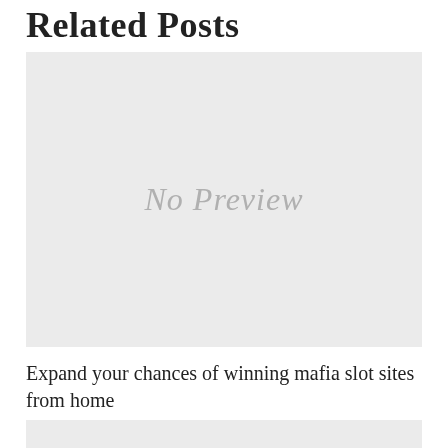Related Posts
[Figure (other): No Preview placeholder image with light gray background]
Expand your chances of winning mafia slot sites from home
[Figure (other): Second No Preview placeholder image, partially visible at bottom]